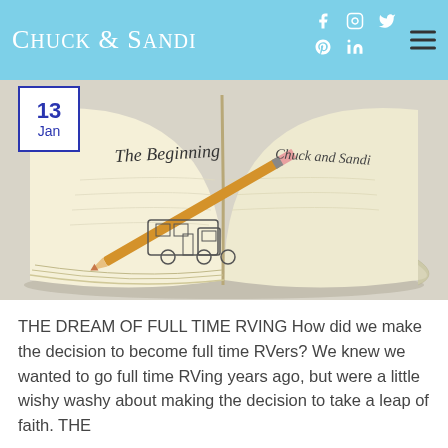Chuck & Sandi
[Figure (photo): Open notebook/journal with a pencil resting on it. The left page reads 'The Beginning' in cursive with a hand-drawn RV illustration. The right page reads 'Chuck and Sandi' in cursive. Background is light gray.]
THE DREAM OF FULL TIME RVING How did we make the decision to become full time RVers? We knew we wanted to go full time RVing years ago, but were a little wishy washy about making the decision to take a leap of faith. THE